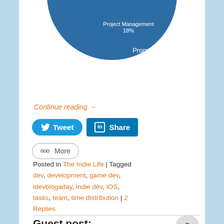[Figure (pie-chart): Partial pie chart showing Programming 69%, Project Management 18%, and other slices at top]
Continue reading →
Tweet | Share | More
Posted in The Indie Life | Tagged dev, development, game dev, idevblogaday, indie dev, iOS, tasks, team, time distribution | 2 Replies
Guest post: The Making